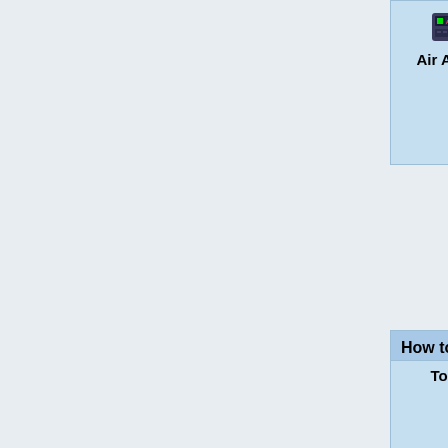| Name | Materials | Instructions |
| --- | --- | --- |
| Air Alarm | x1 (cable icon)
Air Alarm Electronics x1
(screwdriver icon) | frame on the wall you want on.
3. Put in the Air Alarm Electronics
4. Wire it with 5 cable pieces.
5. Screwdriver to close. |
How to deconstruct
| Tools | Items | Instructions |
| --- | --- | --- |
| Tools | (screwdriver icon) | 1. Open cover with screwdriver.
2. Cut all wires except the syphon wire using wirecutters.
3. Use wirecutters on the... |